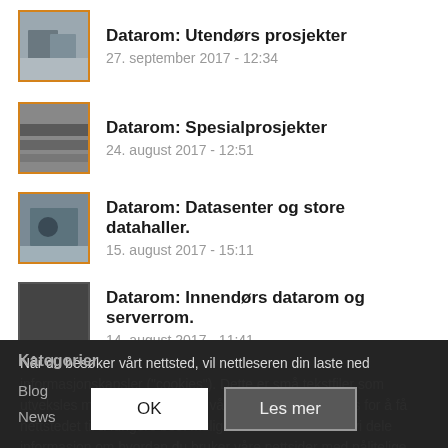Datarom: Utendørs prosjekter
27. september 2017 - 12:34
Datarom: Spesialprosjekter
24. august 2017 - 12:51
Datarom: Datasenter og store datahaller.
15. august 2017 - 15:11
Datarom: Innendørs datarom og serverrom.
14. august 2017 - 11:41
Når du besøker vårt nettsted, vil nettleseren din laste ned informasjonskapsler ("cookies"). Dette er små tekstfiler som utveksles mellom din enhet og vårt nettsted som brukes for å få nettstedet til å fungere best mulig. I enkelte tilfelle kan vi dele informasjon om hvordan du bruker våre nettsider med pålitelige medier og analytikere. Ved å klikke på «OK», samtykker du til dette.
OK
Les mer